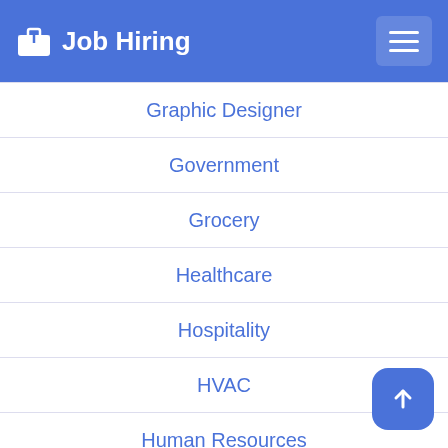Job Hiring
Graphic Designer
Government
Grocery
Healthcare
Hospitality
HVAC
Human Resources
Information Technology
Insurance